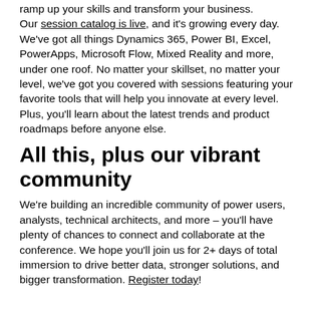ramp up your skills and transform your business. Our session catalog is live, and it's growing every day. We've got all things Dynamics 365, Power BI, Excel, PowerApps, Microsoft Flow, Mixed Reality and more, under one roof. No matter your skillset, no matter your level, we've got you covered with sessions featuring your favorite tools that will help you innovate at every level. Plus, you'll learn about the latest trends and product roadmaps before anyone else.
All this, plus our vibrant community
We're building an incredible community of power users, analysts, technical architects, and more – you'll have plenty of chances to connect and collaborate at the conference. We hope you'll join us for 2+ days of total immersion to drive better data, stronger solutions, and bigger transformation. Register today!